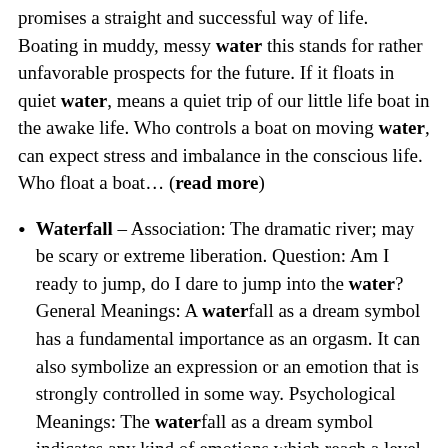promises a straight and successful way of life. Boating in muddy, messy water this stands for rather unfavorable prospects for the future. If it floats in quiet water, means a quiet trip of our little life boat in the awake life. Who controls a boat on moving water, can expect stress and imbalance in the conscious life. Who float a boat... (read more)
Waterfall – Association: The dramatic river; may be scary or extreme liberation. Question: Am I ready to jump, do I dare to jump into the water? General Meanings: A waterfall as a dream symbol has a fundamental importance as an orgasm. It can also symbolize an expression or an emotion that is strongly controlled in some way. Psychological Meanings: The waterfall as a dream symbol indicates any kind of emotions which reach a level of intensity and have to break or to overflow. The falling water may bring you success,